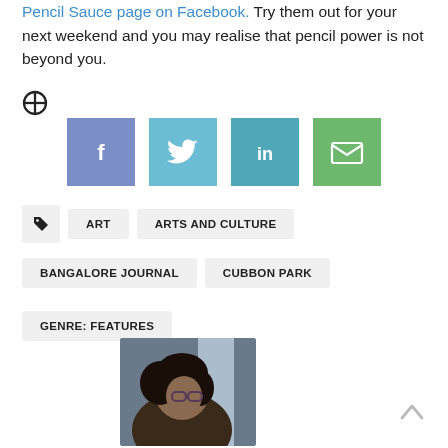Pencil Sauce page on Facebook. Try them out for your next weekend and you may realise that pencil power is not beyond you.
[Figure (infographic): Globe/crosshair icon (circled plus symbol)]
[Figure (infographic): Social sharing buttons: Facebook (blue-purple), Twitter (light blue), LinkedIn (teal-blue), Email (green)]
ART
ARTS AND CULTURE
BANGALORE JOURNAL
CUBBON PARK
GENRE: FEATURES
[Figure (photo): Author photo: a woman with curly hair and glasses looking upward, photographed from below in natural light]